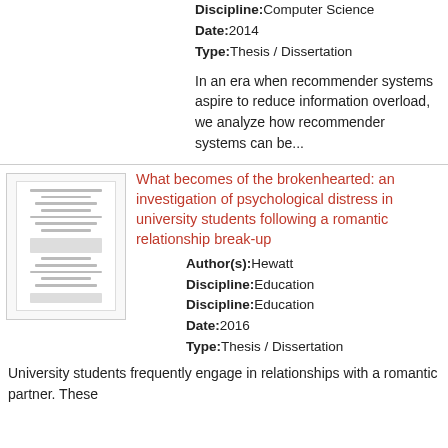Discipline: Computer Science
Date: 2014
Type: Thesis / Dissertation
In an era when recommender systems aspire to reduce information overload, we analyze how recommender systems can be...
[Figure (other): Thumbnail image of a document page]
What becomes of the brokenhearted: an investigation of psychological distress in university students following a romantic relationship break-up
Author(s): Hewatt
Discipline: Education
Discipline: Education
Date: 2016
Type: Thesis / Dissertation
University students frequently engage in relationships with a romantic partner. These